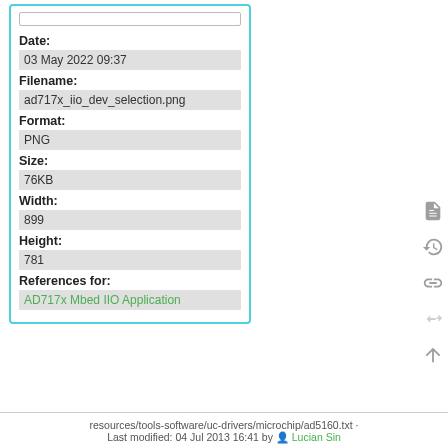| Field | Value |
| --- | --- |
| Date: | 03 May 2022 09:37 |
| Filename: | ad717x_iio_dev_selection.png |
| Format: | PNG |
| Size: | 76KB |
| Width: | 899 |
| Height: | 781 |
| References for: | AD717x Mbed IIO Application |
resources/tools-software/uc-drivers/microchip/ad5160.txt · Last modified: 04 Jul 2013 16:41 by Lucian Sin